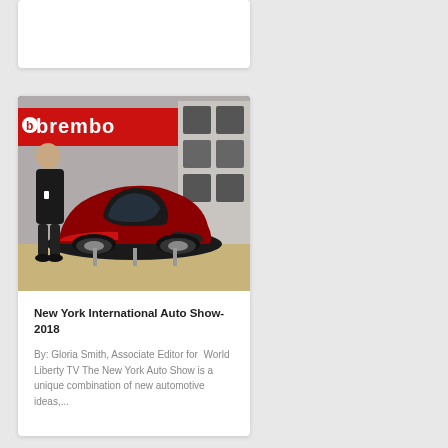[Figure (photo): Partial card/widget at top of page, white background, mostly blank]
[Figure (photo): Red and black exotic sports car (Pagani Huayra) displayed on a wooden platform at the 2018 New York International Auto Show, with a Brembo branded backdrop and a man in dark clothing standing beside it]
New York International Auto Show-2018
By: Gloria Smith, Associate Editor for  World Liberty TV The New York Auto Show is a unique combination of new automotive ideas,...